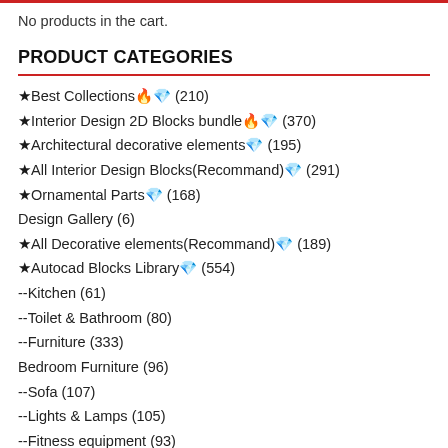No products in the cart.
PRODUCT CATEGORIES
★Best Collections🔥💎 (210)
★Interior Design 2D Blocks bundle🔥💎 (370)
★Architectural decorative elements💎 (195)
★All Interior Design Blocks(Recommand)💎 (291)
★Ornamental Parts💎 (168)
Design Gallery (6)
★All Decorative elements(Recommand)💎 (189)
★Autocad Blocks Library💎 (554)
--Kitchen (61)
--Toilet & Bathroom (80)
--Furniture (333)
Bedroom Furniture (96)
--Sofa (107)
--Lights & Lamps (105)
--Fitness equipment (93)